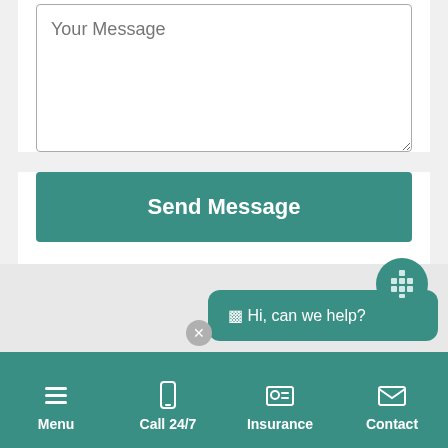[Figure (screenshot): A message textarea input field with placeholder text 'Your Message']
Send Message
[Figure (screenshot): Chat widget showing 'Hi, can we help?' bubble with a decorative icon and close button]
Menu | Call 24/7 | Insurance | Contact